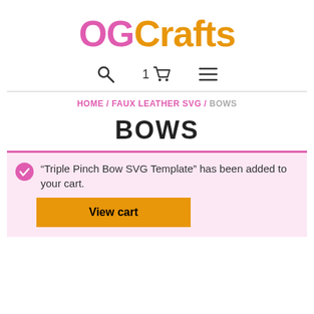OGCrafts
[Figure (screenshot): Navigation icons: search magnifying glass, cart with count '1', and hamburger menu]
HOME / FAUX LEATHER SVG / BOWS
BOWS
"Triple Pinch Bow SVG Template" has been added to your cart.
View cart